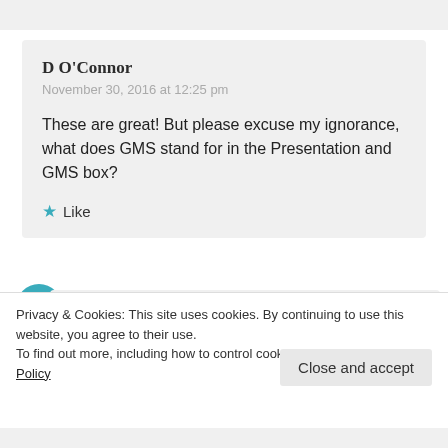D O'Connor
November 30, 2016 at 12:25 pm
These are great! But please excuse my ignorance, what does GMS stand for in the Presentation and GMS box?
★ Like
Mr Thornton
November 30, 2016 at 12:45 pm
Privacy & Cookies: This site uses cookies. By continuing to use this website, you agree to their use.
To find out more, including how to control cookies, see here: Cookie Policy
Close and accept